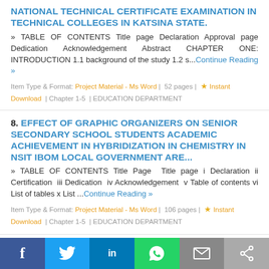NATIONAL TECHNICAL CERTIFICATE EXAMINATION IN TECHNICAL COLLEGES IN KATSINA STATE.
» TABLE OF CONTENTS Title page Declaration Approval page Dedication Acknowledgement Abstract CHAPTER ONE: INTRODUCTION 1.1 background of the study 1.2 s...Continue Reading »
Item Type & Format: Project Material - Ms Word | 52 pages | ★ Instant Download | Chapter 1-5 | EDUCATION DEPARTMENT
8. EFFECT OF GRAPHIC ORGANIZERS ON SENIOR SECONDARY SCHOOL STUDENTS ACADEMIC ACHIEVEMENT IN HYBRIDIZATION IN CHEMISTRY IN NSIT IBOM LOCAL GOVERNMENT ARE...
» TABLE OF CONTENTS Title Page Title page i Declaration ii Certification iii Dedication iv Acknowledgement v Table of contents vi List of tables x List ...Continue Reading »
Item Type & Format: Project Material - Ms Word | 106 pages | ★ Instant Download | Chapter 1-5 | EDUCATION DEPARTMENT